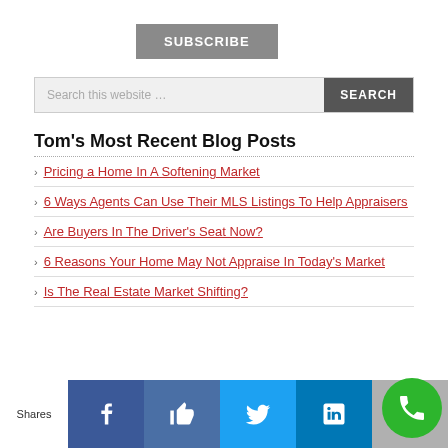[Figure (screenshot): SUBSCRIBE button in gray]
[Figure (screenshot): Search bar with text 'Search this website …' and SEARCH button]
Tom's Most Recent Blog Posts
Pricing a Home In A Softening Market
6 Ways Agents Can Use Their MLS Listings To Help Appraisers
Are Buyers In The Driver's Seat Now?
6 Reasons Your Home May Not Appraise In Today's Market
Is The Real Estate Market Shifting?
[Figure (screenshot): Social sharing bar with Facebook, Like, Twitter, LinkedIn, Email icons and a green phone button. 'Shares' label on left.]